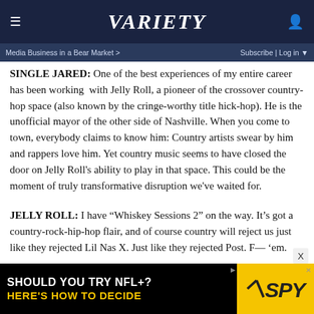VARIETY
Media Business in a Bear Market >   Subscribe | Log in
SINGLE JARED: One of the best experiences of my entire career has been working with Jelly Roll, a pioneer of the crossover country-hop space (also known by the cringe-worthy title hick-hop). He is the unofficial mayor of the other side of Nashville. When you come to town, everybody claims to know him: Country artists swear by him and rappers love him. Yet country music seems to have closed the door on Jelly Roll's ability to play in that space. This could be the moment of truly transformative disruption we've waited for.
JELLY ROLL: I have “Whiskey Sessions 2” on the way. It’s got a country-rock-hip-hop flair, and of course country will reject us just like they rejected Lil Nas X. Just like they rejected Post. F— ‘em.
[Figure (screenshot): Advertisement banner: 'SHOULD YOU TRY NFL+? HERE'S HOW TO DECIDE' with SPY logo on yellow background]